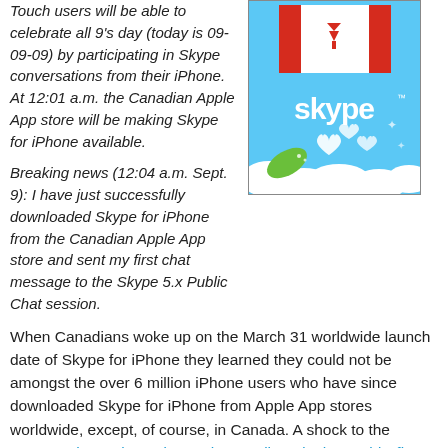Touch users will be able to celebrate all 9's day (today is 09-09-09) by participating in Skype conversations from their iPhone. At 12:01 a.m. the Canadian Apple App store will be making Skype for iPhone available.
[Figure (illustration): Skype promotional image with Canadian flag at top and Skype logo on light blue background with hearts and green leaf design at bottom]
Breaking news (12:04 a.m. Sept. 9): I have just successfully downloaded Skype for iPhone from the Canadian Apple App store and sent my first chat message to the Skype 5.x Public Chat session.
When Canadians woke up on the March 31 worldwide launch date of Skype for iPhone they learned they could not be amongst the over 6 million iPhone users who have since downloaded Skype for iPhone from Apple App stores worldwide, except, of course, in Canada. A shock to the country where Alexander Graham Bell made the world's first long distance call to Brantford, Ontario across a six kilometre